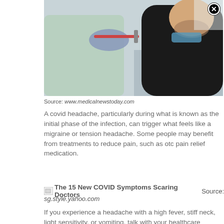[Figure (photo): A healthcare worker in PPE (gloves, gown) administering a nasal swab COVID test to a man in a black coat who is tilting his head back. A close/X button overlay is visible in the top right of the image.]
Source: www.medicalnewstoday.com
A covid headache, particularly during what is known as the initial phase of the infection, can trigger what feels like a migraine or tension headache. Some people may benefit from treatments to reduce pain, such as otc pain relief medication.
[Figure (photo): Broken image placeholder with text: The 15 New COVID Symptoms Scaring Doctors]
Source: sg.style.yahoo.com
If you experience a headache with a high fever, stiff neck, light sensitivity, or vomiting, talk with your healthcare provider to make sure you are not